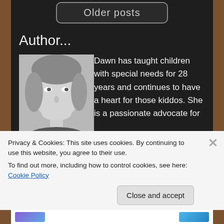Older posts
Author...
[Figure (photo): Black and white headshot photo of a smiling blonde woman looking upward]
Dawn has taught children with special needs for 28 years and continues to have a heart for those kiddos. She is a passionate advocate for those on the autism spectrum. Along with doing a million other things, she also is co-CEO of the Gibson household. That gig keeps her fairly busy.
Privacy & Cookies: This site uses cookies. By continuing to use this website, you agree to their use.
To find out more, including how to control cookies, see here: Cookie Policy
Close and accept